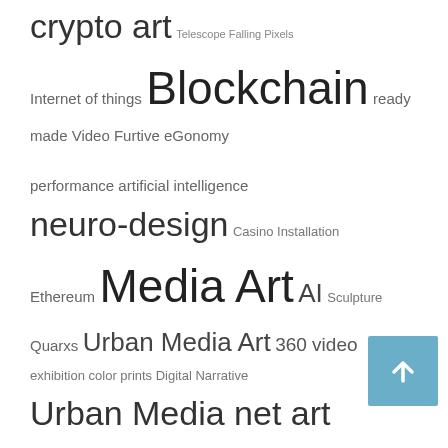crypto art Telescope Falling Pixels Internet of things Blockchain ready made Video Furtive eGonomy performance artificial intelligence neuro-design Casino Installation Ethereum Media Art AI Sculpture Quarxs Urban Media Art 360 video exhibition color prints Digital Narrative Urban Media net art Televirtuality Installation 3D Printing Furtive Video COVID19 Open Sky Marcel Duchamp NFT Generative Text HK Garden pandemics Sk-interface so so so Exhibition design Photo prints Furniture art science prints hybrid gathering Sublimation conceptual art documentary Interactive art